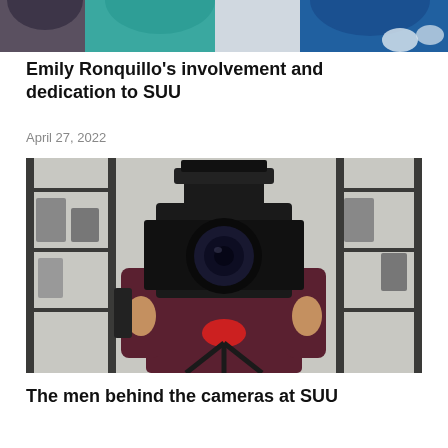[Figure (photo): Partial photo showing people in blue and teal clothing, cropped at the top of the page]
Emily Ronquillo’s involvement and dedication to SUU
April 27, 2022
[Figure (photo): Person holding a large professional video/film camera on a tripod in front of a metal shelving rack with camera equipment]
The men behind the cameras at SUU